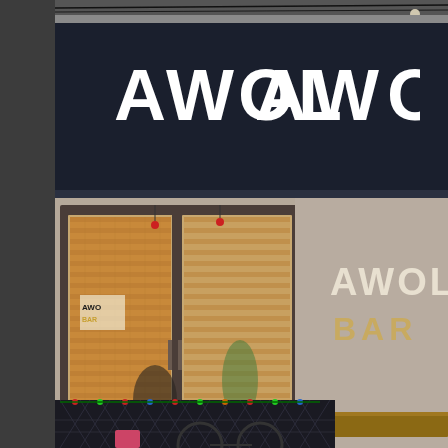[Figure (photo): Exterior photograph of AWOL Bar storefront. The image shows a dark navy/black awning with large white bold stencil-style lettering reading 'AWOL' on the signage above. Below the awning is a taupe/beige wall with white stencil text reading 'AWOL' and golden/yellow stencil text reading 'BAR'. Large glass windows and doors in dark frames reveal a brick interior wall visible through the glass. String lights with small colored bulbs hang along the front. A decorative metal fence with a diamond pattern and colored lights runs along the bottom of the storefront. The left edge of the image shows a dark gray border/wall. The overall color palette is muted with warm amber brick tones contrasting against the dark exterior.]